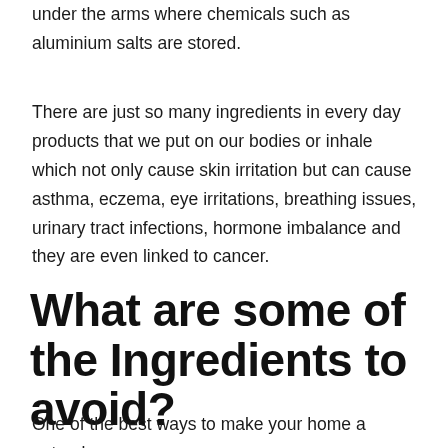under the arms where chemicals such as aluminium salts are stored.
There are just so many ingredients in every day products that we put on our bodies or inhale which not only cause skin irritation but can cause asthma, eczema, eye irritations, breathing issues, urinary tract infections, hormone imbalance and they are even linked to cancer.
What are some of the Ingredients to avoid?
One of the best ways to make your home a natural home is by being aware of what ingredients to avoid in